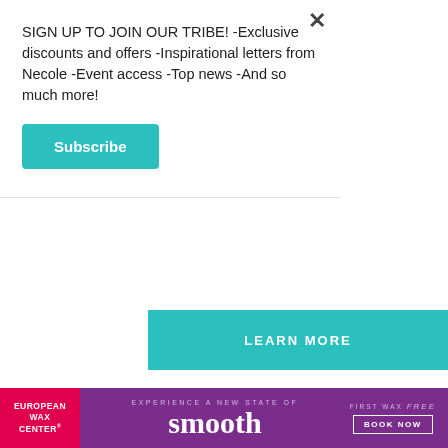SIGN UP TO JOIN OUR TRIBE! -Exclusive discounts and offers -Inspirational letters from Necole -Event access -Top news -And so much more!
Subscribe
[Figure (infographic): Teal/green LEARN MORE button/banner]
5. Stop Following the Rules and Make Your Own.
When Lily first entered Marketing at Verizon, she worked in SMB (small/medium business) and was tasked with finding a new way to make SMB matter
[Figure (infographic): European Wax Center advertisement banner with purple background, red left panel, 'smooth' text, and 'First Wax Free Book Now' button]